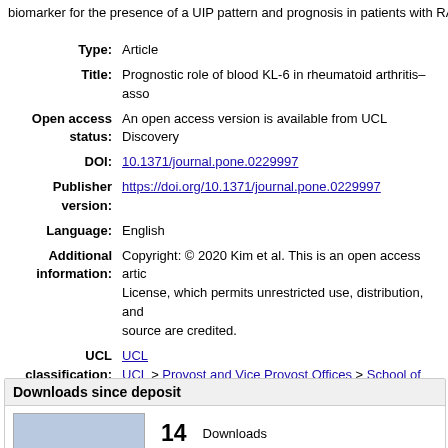biomarker for the presence of a UIP pattern and prognosis in patients with RA-
| Type: | Article |
| Title: | Prognostic role of blood KL-6 in rheumatoid arthritis–asso |
| Open access status: | An open access version is available from UCL Discovery |
| DOI: | 10.1371/journal.pone.0229997 |
| Publisher version: | https://doi.org/10.1371/journal.pone.0229997 |
| Language: | English |
| Additional information: | Copyright: © 2020 Kim et al. This is an open access artic License, which permits unrestricted use, distribution, and source are credited. |
| UCL classification: | UCL
UCL > Provost and Vice Provost Offices > School of Life a
UCL > Provost and Vice Provost Offices > School of Life a
UCL > Provost and Vice Provost Offices > School of Life a Medicine
UCL > Provost and Vice Provost Offices > School of Life a Medicine > Respiratory Medicine |
| URI: | https://discovery.ucl.ac.uk/id/eprint/10092083 |
Downloads since deposit
[Figure (bar-chart): Bar chart showing downloads since deposit with count of 14 downloads]